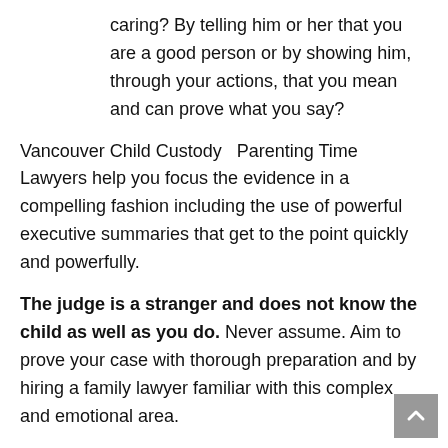caring? By telling him or her that you are a good person or by showing him, through your actions, that you mean and can prove what you say?
Vancouver Child Custody  Parenting Time Lawyers help you focus the evidence in a compelling fashion including the use of powerful executive summaries that get to the point quickly and powerfully.
The judge is a stranger and does not know the child as well as you do. Never assume. Aim to prove your case with thorough preparation and by hiring a family lawyer familiar with this complex and emotional area.
If you need help with your children's custody, call us at any of our five locations in Surrey, downtown Vancouver, Fort St. John and Kelowna, and Richmond or in Calgary, Alberta.